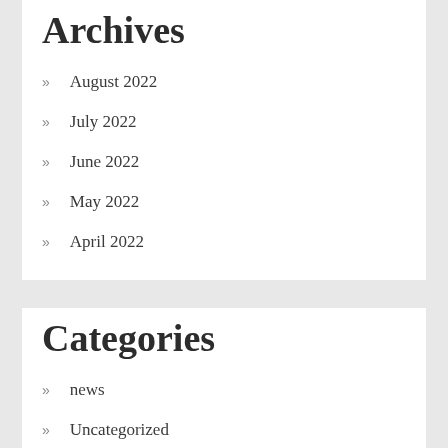Archives
August 2022
July 2022
June 2022
May 2022
April 2022
Categories
news
Uncategorized